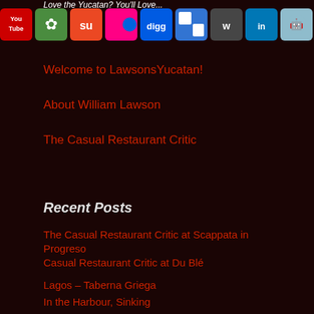Love the Yucatan? You'll Love...
[Figure (screenshot): Row of social media icon buttons: YouTube, green plant icon, StumbleUpon, Flickr, Digg, Delicious, Wordpress, LinkedIn, Reddit, iMessage/chat, Facebook, Twitter, RSS feed]
Welcome to LawsonsYucatan!
About William Lawson
The Casual Restaurant Critic
Recent Posts
The Casual Restaurant Critic at Scappata in Progreso
Casual Restaurant Critic at Du Blé
Lagos – Taberna Griega
In the Harbour, Sinking
Ramiro Cocina
Wah Bao – Casual Restaurant